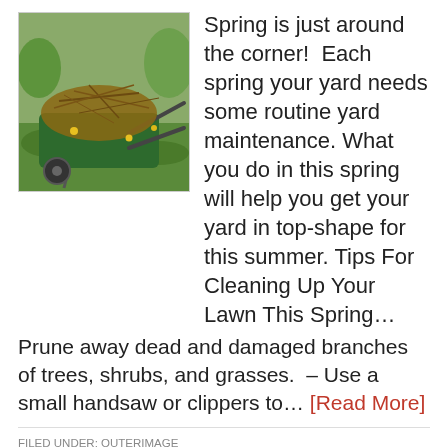[Figure (photo): A green wheelbarrow filled with dead branches and plant debris on a lawn with small yellow flowers in the background.]
Spring is just around the corner!  Each spring your yard needs some routine yard maintenance. What you do in this spring will help you get your yard in top-shape for this summer. Tips For Cleaning Up Your Lawn This Spring… Prune away dead and damaged branches of trees, shrubs, and grasses.  – Use a small handsaw or clippers to… [Read More]
FILED UNDER: OUTERIMAGE
TAGGED WITH: CINCINNATI LANDSCAPING, CINCINNATI PLANTS, CLEAN AROUND PLANTS, CLEAN HARDSCAPES, GROUND COVERS, NORTHERN KENTUCKY LANDSCAPING, NORTHERN KENTUCKY PLANTS, OUTER IMAGE, OUTER IMAGE OUTDOOR SERIVES, OUTERIMAGE, OUTERIMAGE LANDSCAPING, PH LEVELS, PHIL FELTY, SPRING CLEANUP, SPRING PRUNING, TEST SOIL